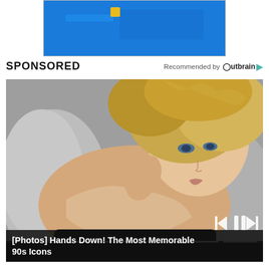[Figure (other): Blue advertisement banner at top of page]
SPONSORED
Recommended by Outbrain
[Figure (photo): Photo of a blonde woman reclining on a grey sofa with media player controls overlay showing skip-back, pause, and skip-forward buttons]
[Photos] Hands Down! The Most Memorable 90s Icons